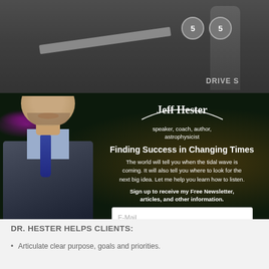[Figure (photo): Top section showing a dark image with two circular badges numbered 5 and text 'DRIVE S' visible on right]
[Figure (photo): Jeff Hester promotional banner with dark space/nebula background, photo of Jeff Hester (man with gray-brown hair and beard in suit), logo with arc, headline, body text, email signup form and subscribe button]
Jeff Hester
speaker, coach, author, astrophysicist
Finding Success in Changing Times
The world will tell you when the tidal wave is coming. It will also tell you where to look for the next big idea. Let me help you learn how to listen.
Sign up to receive my Free Newsletter, articles, and other information.
DR. HESTER HELPS CLIENTS:
Articulate clear purpose, goals and priorities.